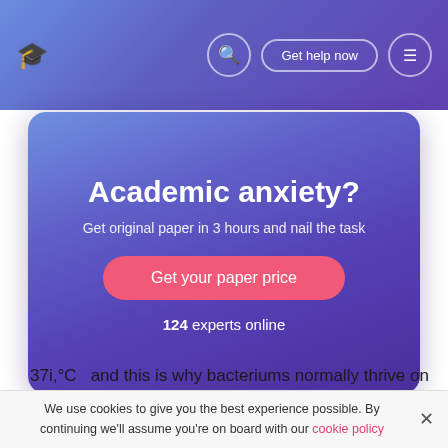Academic anxiety? Get original paper in 3 hours and nail the task
[Figure (screenshot): Promotional hero card with gradient purple background, title 'Academic anxiety?', subtitle 'Get original paper in 3 hours and nail the task', a pink 'Get your paper price' button, and '124 experts online' text]
Bacterias spread by spliting. They can multiply at a rate of: – duplicating of all time 20min if the conditions are ideal. Most bacteriums prefer an optimum temperature of about 37i,°C.
We use cookies to give you the best experience possible. By continuing we'll assume you're on board with our cookie policy
37i,°C  and this is why bacteriums normally thrive on the